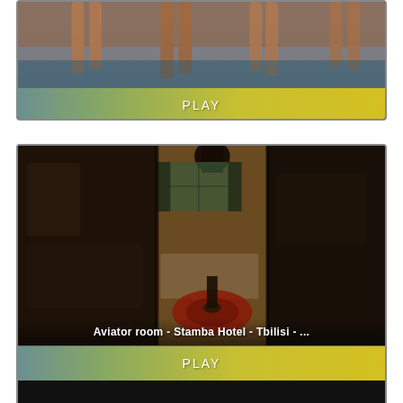[Figure (screenshot): Top video card: beach/seaside image showing legs of people walking near water, with a PLAY button below in a teal-to-yellow gradient]
[Figure (screenshot): Bottom video card: hotel room image showing 'Aviator room - Stamba Hotel - Tbilisi - ...' with decorative chandelier, patterned rug, and dark atmospheric lighting across three panel segments, with a PLAY button below]